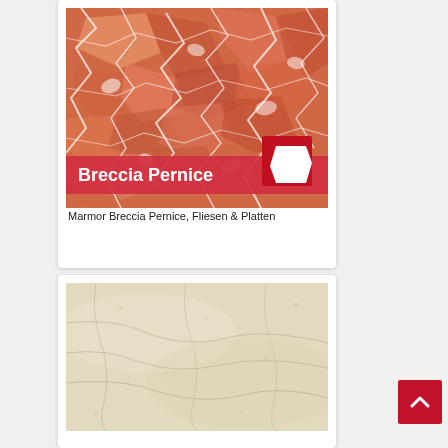[Figure (photo): Breccia Pernice marble texture - red/orange/pink stone with angular white veining fragments. A red banner reads 'Breccia Pernice' with a white marble slab icon in the lower right corner. Two small icons (magnifier and save/floppy) appear below the image.]
Marmor Breccia Pernice, Fliesen & Platten
[Figure (photo): Light beige/cream limestone or marble texture with subtle grey veining and surface variation.]